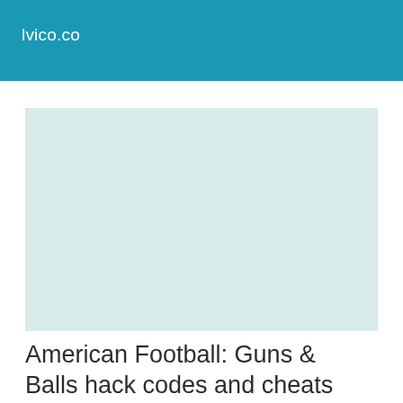lvico.co
[Figure (illustration): Light mint/teal colored rectangular placeholder image area]
American Football: Guns & Balls hack codes and cheats